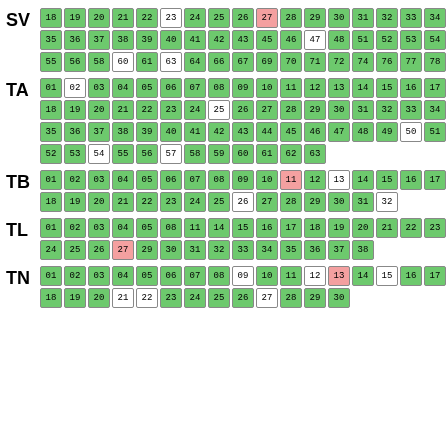[Figure (other): Grid of numbered cells for section SV, colored green, white, or pink, arranged in 3 rows]
[Figure (other): Grid of numbered cells for section TA, colored green, white, or pink, arranged in 4 rows]
[Figure (other): Grid of numbered cells for section TB, colored green, white, or pink, arranged in 2 rows]
[Figure (other): Grid of numbered cells for section TL, colored green, white, or pink, arranged in 2 rows]
[Figure (other): Grid of numbered cells for section TN, colored green, white, or pink, arranged in 2 rows]